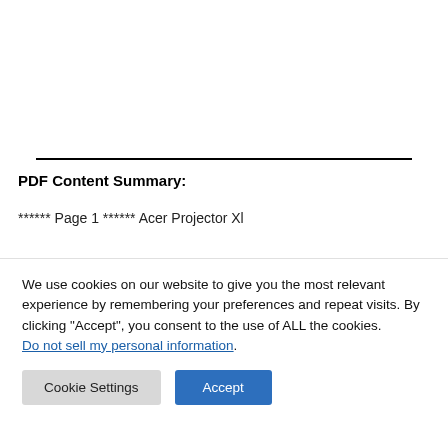PDF Content Summary:
****** Page 1 ****** Acer Projector Xl
We use cookies on our website to give you the most relevant experience by remembering your preferences and repeat visits. By clicking “Accept”, you consent to the use of ALL the cookies.
Do not sell my personal information.
Cookie Settings   Accept